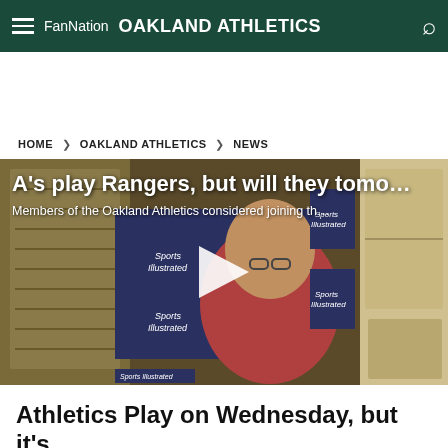FanNation  OAKLAND ATHLETICS
HOME > OAKLAND ATHLETICS > NEWS
[Figure (screenshot): Video thumbnail showing a man in a red/pink shirt seated in front of a Sports Illustrated branded backdrop, with a white play button overlay. Video title reads: A's play Rangers, but will they tomo… Subtitle: Members of the Oakland Athletics considered joining th…]
Athletics Play on Wednesday, but it's